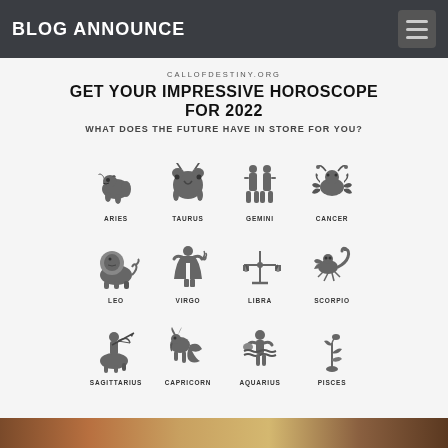BLOG ANNOUNCE
CALLOFDESTINY.ORG
GET YOUR IMPRESSIVE HOROSCOPE FOR 2022
WHAT DOES THE FUTURE HAVE IN STORE FOR YOU?
[Figure (illustration): Grid of 12 zodiac sign illustrations with labels: ARIES, TAURUS, GEMINI, CANCER, LEO, VIRGO, LIBRA, SCORPIO, SAGITTARIUS, CAPRICORN, AQUARIUS, PISCES]